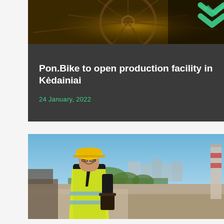[Figure (photo): Dark background photo showing a bicycle wheel with sunlight, top portion of article card. Green double chevron arrows visible in top right corner.]
Pon.Bike to open production facility in Kėdainiai
24 January, 2022
[Figure (photo): Photo of a smiling construction worker wearing a yellow hard hat and yellow high-visibility vest, holding a coffee cup, standing outdoors with an industrial cityscape in the background.]